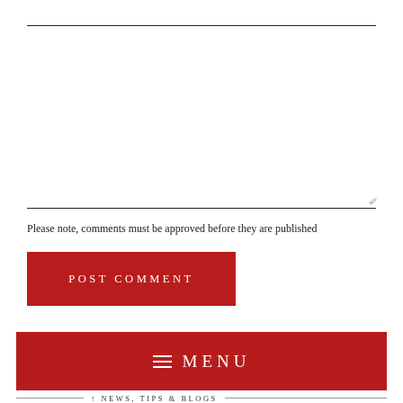Message
Please note, comments must be approved before they are published
POST COMMENT
≡ MENU
NEWS, TIPS & BLOGS